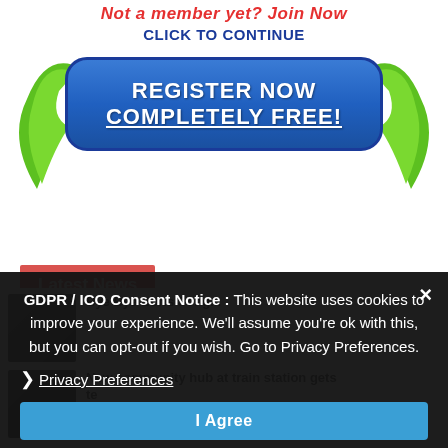[Figure (infographic): Registration banner with red italic text 'Not a member yet? Join Now', blue bold text 'CLICK TO CONTINUE', and a blue rounded button reading 'REGISTER NOW COMPLETELY FREE!' with green decorative flame/horn graphics on either side.]
Latest News
[Figure (screenshot): News section with two partially visible news items, each with a dark thumbnail image and bold headline text. First item partially obscured by GDPR overlay. Second item: 'New community hub at train station gets te...' with a date of 18 November 2021.]
GDPR / ICO Consent Notice : This website uses cookies to improve your experience. We'll assume you're ok with this, but you can opt-out if you wish. Go to Privacy Preferences.
Privacy Preferences
I Agree